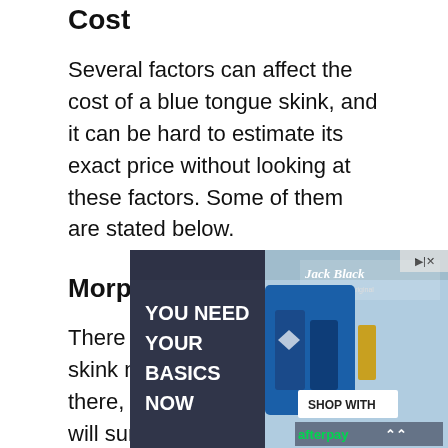Cost
Several factors can affect the cost of a blue tongue skink, and it can be hard to estimate its exact price without looking at these factors. Some of them are stated below.
Morphs
There are different blue tongue skink morphs available out there, and the type you want will surely affect its price. Common blue tongue skink morphs like the northern blue tongue skink...
[Figure (screenshot): Advertisement overlay showing 'YOU NEED YOUR BASICS NOW' with Jack Black grooming products and afterpay logo, partially covering the article text.]